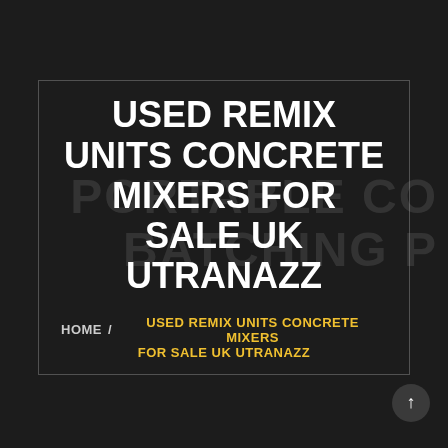[Figure (screenshot): Dark background webpage screenshot with faint watermark text reading PORTABLE CONCRETE BATCHING in large gray uppercase letters. A bordered box in the center contains the main title and breadcrumb navigation.]
USED REMIX UNITS CONCRETE MIXERS FOR SALE UK UTRANAZZ
HOME / USED REMIX UNITS CONCRETE MIXERS FOR SALE UK UTRANAZZ